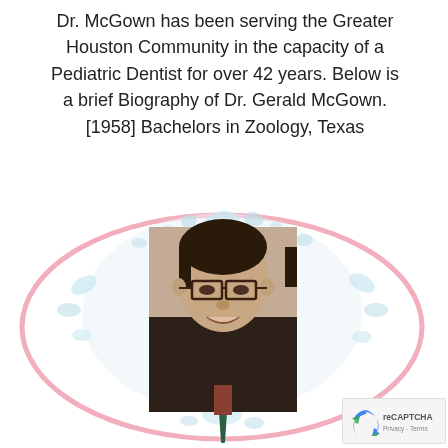Dr. McGown has been serving the Greater Houston Community in the capacity of a Pediatric Dentist for over 42 years. Below is a brief Biography of Dr. Gerald McGown. [1958] Bachelors in Zoology, Texas
[Figure (photo): Oval pink-bordered frame with water splash effect surrounding a headshot photo of Dr. Gerald McGown, a man with dark hair and glasses, wearing a dark jacket, smiling.]
[Figure (logo): reCAPTCHA badge in bottom right corner showing the reCAPTCHA icon and Privacy - Terms text.]